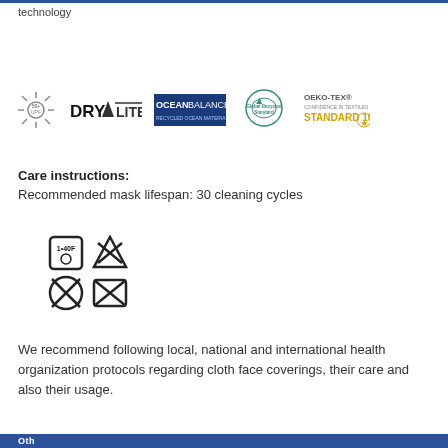technology
[Figure (logo): Row of certification logos: 50+ UPF sun icon, DRY LITE logo, OCEANBALANCE Recycled Ocean Materials logo, Global Recycled Standard logo, OEKO-TEX STANDARD 100 logo]
Care instructions:
Recommended mask lifespan: 30 cleaning cycles
[Figure (illustration): Four laundry care symbols: machine wash 140F, do not bleach (triangle with X), do not tumble dry (circle with X), do not iron (iron with X)]
We recommend following local, national and international health organization protocols regarding cloth face coverings, their care and also their usage.
Oth...